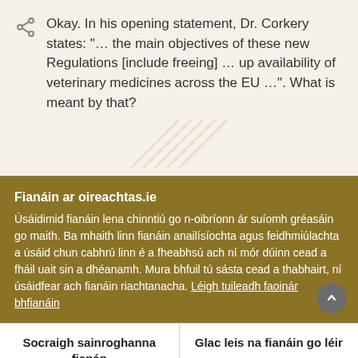Okay. In his opening statement, Dr. Corkery states: "… the main objectives of these new Regulations [include freeing] … up availability of veterinary medicines across the EU …". What is meant by that?
Fianáin ar oireachtas.ie
Úsáidimid fianáin lena chinntiú go n-oibríonn ár suíomh gréasáin go maith. Ba mhaith linn fianáin anailísíochta agus feidhmiúlachta a úsáid chun cabhrú linn é a fheabhsú ach ní mór dúinn cead a fháil uait sin a dhéanamh. Mura bhfuil tú sásta cead a thabhairt, ní úsáidfear ach fianáin riachtanacha. Léigh tuileadh faoinár bhfianáin
Socraigh sainroghanna fianán
Glac leis na fianáin go léir